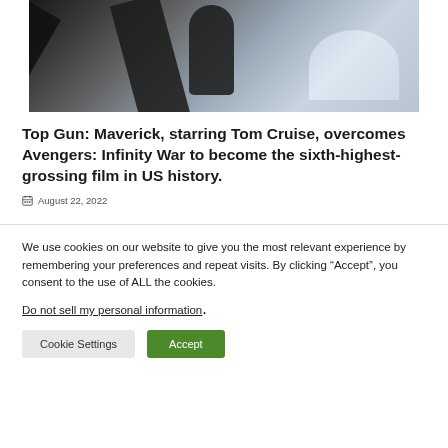[Figure (photo): A person silhouetted against a bright sky, sitting in or near the cockpit of an aircraft, viewed from outside with cockpit canopy visible]
Top Gun: Maverick, starring Tom Cruise, overcomes Avengers: Infinity War to become the sixth-highest-grossing film in US history.
August 22, 2022
We use cookies on our website to give you the most relevant experience by remembering your preferences and repeat visits. By clicking “Accept”, you consent to the use of ALL the cookies.
Do not sell my personal information.